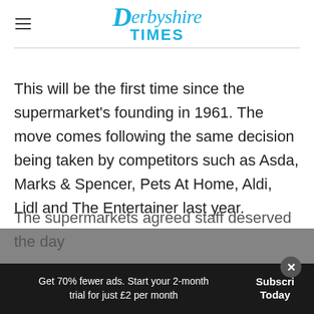Derbyshire Times
This will be the first time since the supermarket's founding in 1961. The move comes following the same decision being taken by competitors such as Asda, Marks & Spencer, Pets At Home, Aldi, Lidl and The Entertainer last year.
The supermarkets agreed staff deserved the day
Get 70% fewer ads. Start your 2-month trial for just £2 per month
Subscribe Today